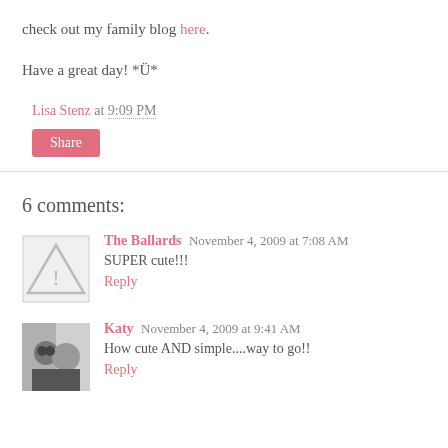check out my family blog here.
Have a great day! *Ü*
Lisa Stenz at 9:09 PM
Share
6 comments:
The Ballards November 4, 2009 at 7:08 AM
SUPER cute!!!
Reply
Katy November 4, 2009 at 9:41 AM
How cute AND simple....way to go!!
Reply